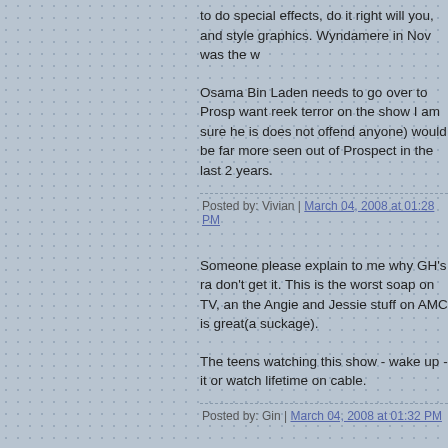to do special effects, do it right will you, and style graphics. Wyndamere in Nov was the w
Osama Bin Laden needs to go over to Prosp want reek terror on the show I am sure he is does not offend anyone) would be far more seen out of Prospect in the last 2 years.
Posted by: Vivian | March 04, 2008 at 01:28 PM
Someone please explain to me why GH's ra don't get it. This is the worst soap on TV, an the Angie and Jessie stuff on AMC is great(a suckage).
The teens watching this show - wake up - it or watch lifetime on cable.
Posted by: Gin | March 04, 2008 at 01:32 PM
I have to say, any actor on this show be con these days is like working as a chef at a slee class restaurant would hire that chef and wh